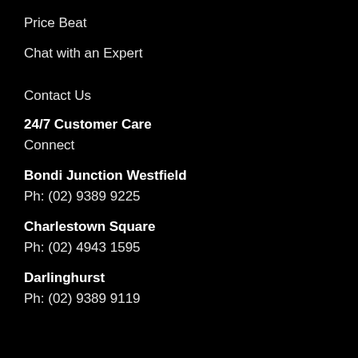Price Beat
Chat with an Expert
Contact Us
24/7 Customer Care
Connect
Bondi Junction Westfield
Ph: (02) 9389 9225
Charlestown Square
Ph: (02) 4943 1595
Darlinghurst
Ph: (02) 9389 9119